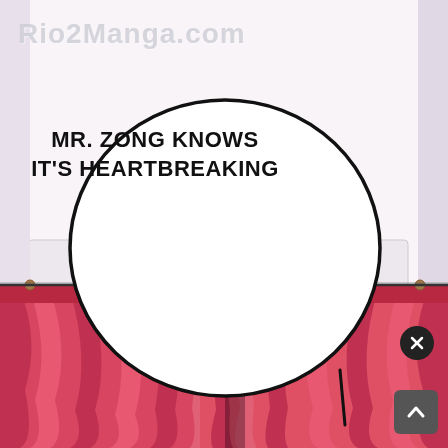[Figure (illustration): Manga/webtoon panel showing an interior room with pink/red draped curtains and a white ceiling. A speech bubble overlays the upper portion with the text 'MR. ZONG KNOWS IT'S HEARTBREAKING'. Watermark 'Rio2Manga.com' appears at top left. UI buttons (close X and scroll-up arrow) appear at bottom right.]
Rio2Manga.com